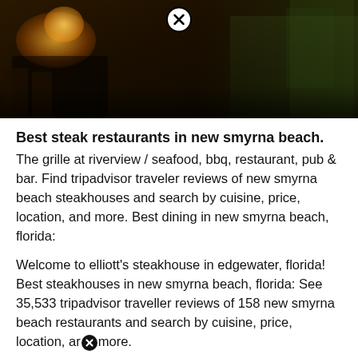[Figure (photo): Nighttime outdoor restaurant scene with warm amber lighting, greenery, and architectural elements visible in background. A close button (circled X) overlay is visible at the top center.]
Best steak restaurants in new smyrna beach.
The grille at riverview / seafood, bbq, restaurant, pub & bar. Find tripadvisor traveler reviews of new smyrna beach steakhouses and search by cuisine, price, location, and more. Best dining in new smyrna beach, florida:
Welcome to elliott's steakhouse in edgewater, florida! Best steakhouses in new smyrna beach, florida: See 35,533 tripadvisor traveller reviews of 158 new smyrna beach restaurants and search by cuisine, price, location, ar more.